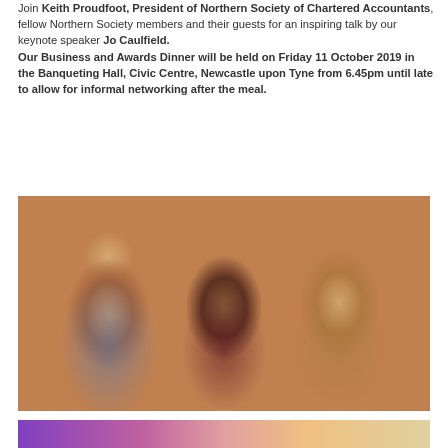Join Keith Proudfoot, President of Northern Society of Chartered Accountants, fellow Northern Society members and their guests for an inspiring talk by our keynote speaker Jo Caulfield. Our Business and Awards Dinner will be held on Friday 11 October 2019 in the Banqueting Hall, Civic Centre, Newcastle upon Tyne from 6.45pm until late to allow for informal networking after the meal.
[Figure (photo): Three women smiling at a formal dinner event, sitting together at a table with glasses of wine visible. The woman on the left has long brown hair and wears a colourful dress, the woman in the middle has dark hair and glasses and wears a dark blazer over a burgundy top, and the woman on the right is blonde wearing a sparkly outfit.]
[Figure (photo): Partial view of what appears to be a banner or signage at an event, with purple and pink tones visible.]